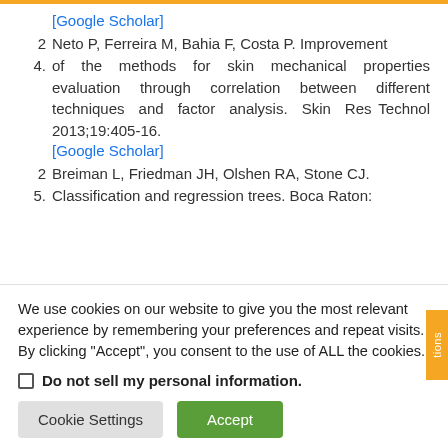[Google Scholar]
2. Neto P, Ferreira M, Bahia F, Costa P. Improvement
4. of the methods for skin mechanical properties evaluation through correlation between different techniques and factor analysis. Skin Res Technol 2013;19:405-16.
[Google Scholar]
2. Breiman L, Friedman JH, Olshen RA, Stone CJ.
5. Classification and regression trees. Boca Raton:
We use cookies on our website to give you the most relevant experience by remembering your preferences and repeat visits. By clicking “Accept”, you consent to the use of ALL the cookies.
Do not sell my personal information.